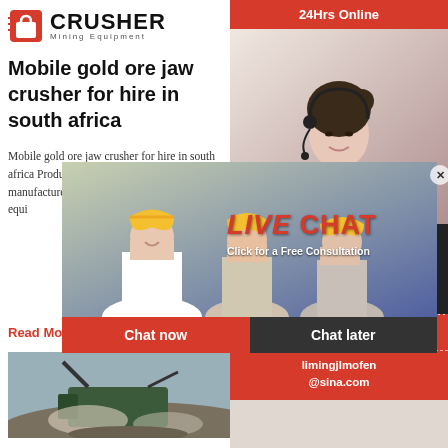CRUSHER Mining Equipment
Mobile gold ore jaw crusher for hire in south africa
Mobile gold ore jaw crusher for hire in south africa Products. As a leading global manufacturer of crushing, grinding and mining equipment, we offer advanced, reasonable solutions for any size-reduction requirements including, Mobile gold ore jaw crusher for hire in south africa, quarry, aggregate, and different kinds of minerals.
Read More
[Figure (photo): Mobile crusher machine working on a mining site, crushing ore/gravel with dust in air]
Minerals and Mining in South Africa Minerals SA ...
[Figure (screenshot): Live chat popup overlay showing workers in hard hats, LIVE CHAT text in red, Click for a Free Consultation subtitle, Chat now and Chat later buttons]
[Figure (photo): Customer service agent (woman with headset) in sidebar. 24Hrs Online top bar. Need questions & suggestion section with Chat Now button, Enquiry section, and limingjlmofen@sina.com email contact]